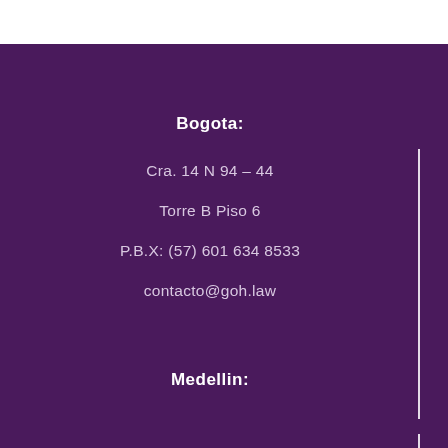Bogota:
Cra. 14 N 94 – 44
Torre B Piso 6
P.B.X: (57) 601 634 8533
contacto@goh.law
Medellin: